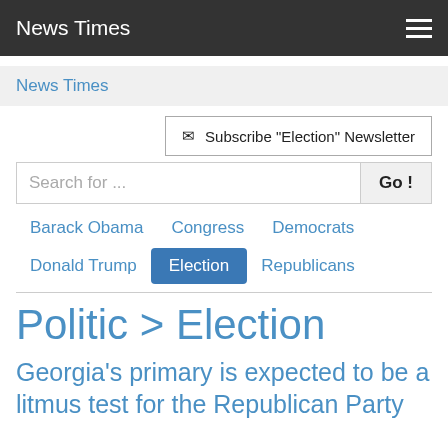News Times
News Times
✉ Subscribe "Election" Newsletter
Search for ...
Barack Obama
Congress
Democrats
Donald Trump
Election
Republicans
Politic > Election
Georgia's primary is expected to be a litmus test for the Republican Party